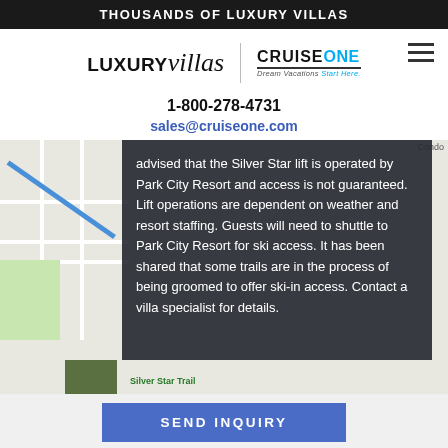THOUSANDS OF LUXURY VILLAS
[Figure (logo): LUXURYvillas | CruiseONE Dream Vacations logo with hamburger menu icon]
1-800-278-4731
sales@cruiseone.com
[Figure (map): Map background with overlay text box stating: advised that the Silver Star lift is operated by Park City Resort and access is not guaranteed. Lift operations are dependent on weather and resort staffing. Guests will need to shuttle to Park City Resort for ski access. It has been shared that some trails are in the process of being groomed to offer ski-in access. Contact a villa specialist for details.]
SEND INQUIRY